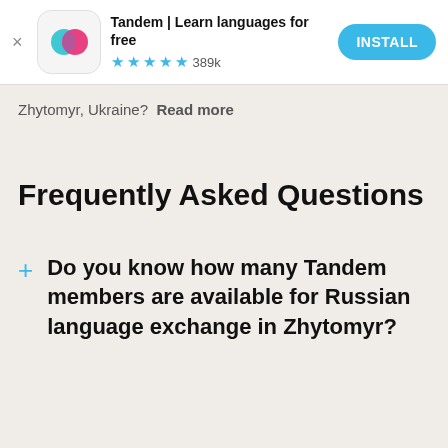[Figure (screenshot): Tandem app advertisement banner with logo, app name 'Tandem | Learn languages for free', 4.5 star rating with 389k reviews, and an INSTALL button]
Zhytomyr, Ukraine?  Read more
Frequently Asked Questions
Do you know how many Tandem members are available for Russian language exchange in Zhytomyr?